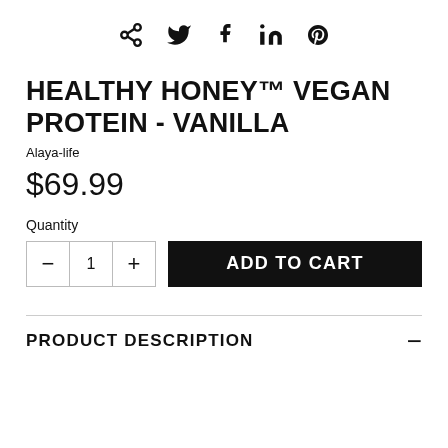[Figure (infographic): Social sharing icons: share, Twitter, Facebook, LinkedIn, Pinterest]
HEALTHY HONEY™ VEGAN PROTEIN - VANILLA
Alaya-life
$69.99
Quantity
ADD TO CART
PRODUCT DESCRIPTION